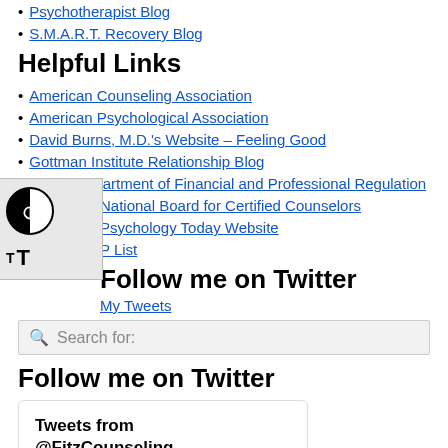Psychotherapist Blog
S.M.A.R.T. Recovery Blog
Helpful Links
American Counseling Association
American Psychological Association
David Burns, M.D.'s Website – Feeling Good
Gottman Institute Relationship Blog
Illinois Department of Financial and Professional Regulation
National Board for Certified Counselors
Psychology Today Website
P List
Follow me on Twitter
My Tweets
[Figure (other): Accessibility widget overlay panel with contrast toggle and font size buttons]
[Figure (other): Search bar with placeholder text 'Search for:']
Follow me on Twitter
[Figure (other): Tweets widget showing 'Tweets from @FitzCounseling']